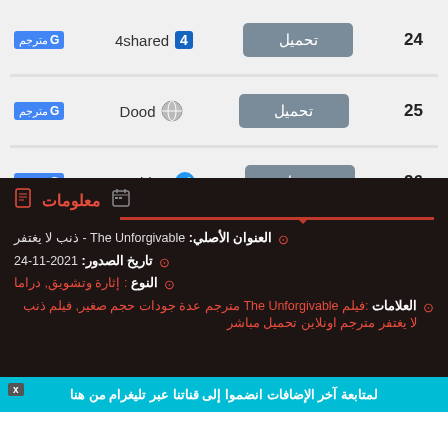24 تحميل 4shared مترجم
25 تحميل Dood مترجم
26 تحميل Upvideo مترجم
معلومات
العنوان الأصلي: The Unforgivable - ذنب لا يغتفر
تاريخ الصدور: 2021-11-24
النوع : إثارة وتشويق, دراما
العلامات: فيلم The Unforgivable مترجم عدة جودات حجم صغير, فيلم ذنب لا يغتفر مترجم اونلاين تحميل مباشر
لمتابعة آخر الإضافات انضموا إلى قناتنا عبر تليغرام من هنا